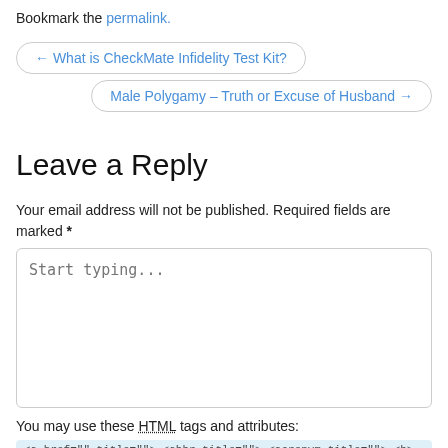Bookmark the permalink.
← What is CheckMate Infidelity Test Kit?
Male Polygamy – Truth or Excuse of Husband →
Leave a Reply
Your email address will not be published. Required fields are marked *
Start typing...
You may use these HTML tags and attributes:
<a href="" title=""> <abbr title=""> <acronym title=""> <b>